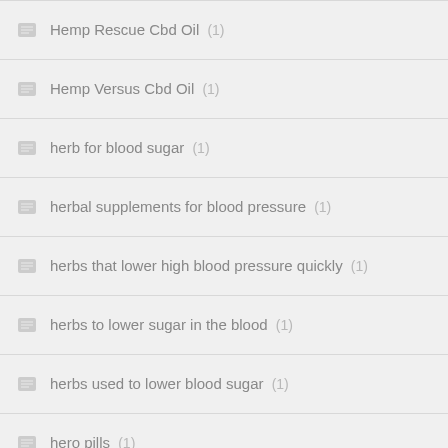Hemp Rescue Cbd Oil (1)
Hemp Versus Cbd Oil (1)
herb for blood sugar (1)
herbal supplements for blood pressure (1)
herbs that lower high blood pressure quickly (1)
herbs to lower sugar in the blood (1)
herbs used to lower blood sugar (1)
hero pills (1)
hgh muscle (1)
hgh testosterone booster (1)